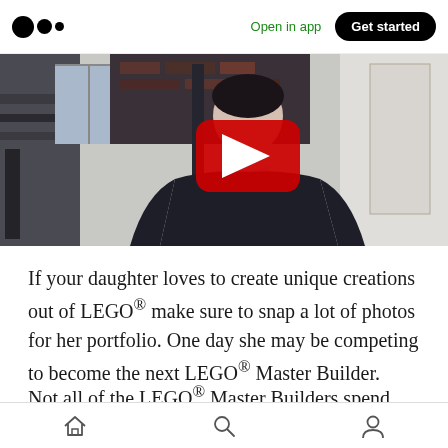Medium – Open in app | Get started
[Figure (screenshot): YouTube video thumbnail showing a person in a dark sweater sitting in a room, with a red YouTube play button overlay in the center]
If your daughter loves to create unique creations out of LEGO® make sure to snap a lot of photos for her portfolio. One day she may be competing to become the next LEGO® Master Builder.
Not all of the LEGO® Master Builders spend their time making models for theme parks and
Home | Search | Profile